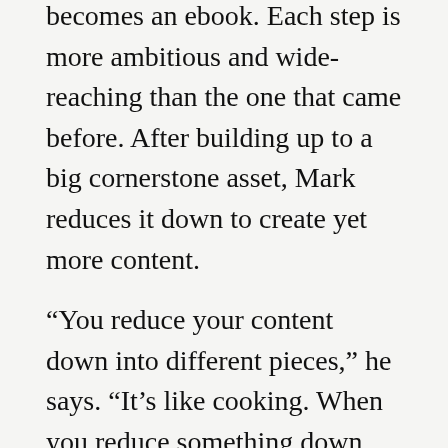becomes an ebook. Each step is more ambitious and wide-reaching than the one that came before. After building up to a big cornerstone asset, Mark reduces it down to create yet more content.
“You reduce your content down into different pieces,” he says. “It’s like cooking. When you reduce something down, you pull out the flavors and goodness.”
But smaller isn’t better by default. Mark uses reduction projects to focus on what a particular persona or audience would find most interesting in an asset. For example, he recently reduced a successful 15,000-